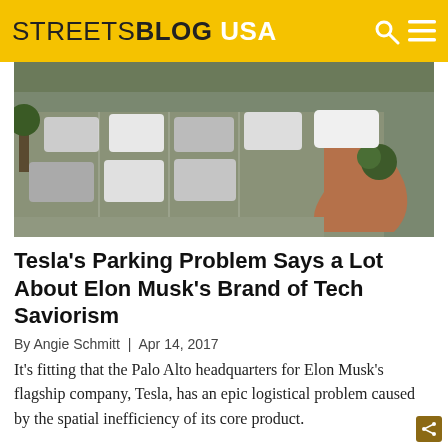STREETSBLOG USA
[Figure (photo): Aerial view of a crowded parking lot with multiple cars parked and a curved red/brown curbed island with a tree]
Tesla’s Parking Problem Says a Lot About Elon Musk’s Brand of Tech Saviorism
By Angie Schmitt | Apr 14, 2017
It’s fitting that the Palo Alto headquarters for Elon Musk’s flagship company, Tesla, has an epic logistical problem caused by the spatial inefficiency of its core product.
Wednesday’s Headlines Smell a Little Musky
By Blake Aued | Oct 27, 2021
It’s all about Elon. Plus, how cities can use transportation policy to revitalize downtowns in the wake of the pandemic and more headlines.